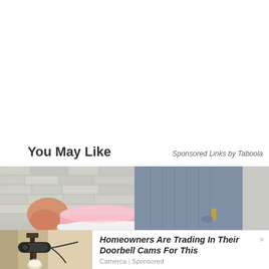You May Like
Sponsored Links by Taboola
[Figure (photo): Close-up photo of person's feet wearing pink slip-on shoes/sneakers against a white brick wall background, with jeans visible]
[Figure (photo): Outdoor wall-mounted security camera or light fixture on a building exterior]
Homeowners Are Trading In Their Doorbell Cams For This
Camerca | Sponsored